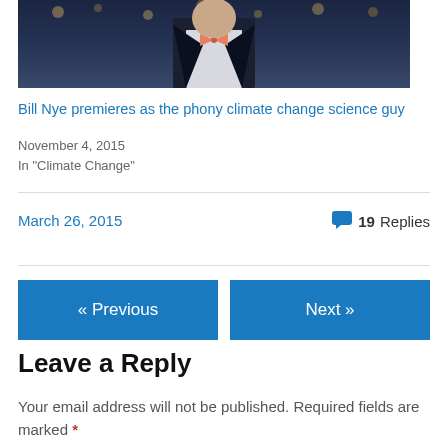[Figure (photo): Partial photo of a man in a dark suit jacket with a bow tie, outdoors with bokeh lights in background — Bill Nye]
Bill Nye premieres as the phony climate change science guy
November 4, 2015
In "Climate Change"
March 26, 2015
19 Replies
« Previous
Next »
Leave a Reply
Your email address will not be published. Required fields are marked *